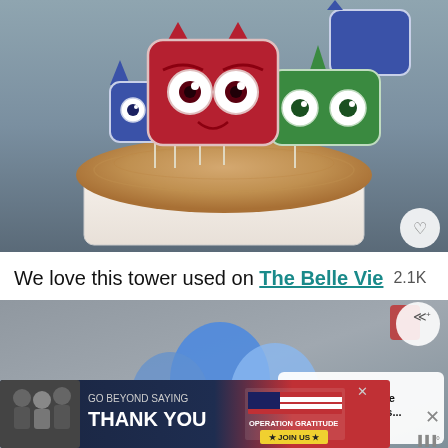[Figure (photo): PJ Masks cake toppers — three character masks (blue Catboy, red Owlette, green Gekko) on sticks inserted into a frosted cake]
We love this tower used on The Belle Vie  2.1K
[Figure (photo): Party scene with blue balloons and letter decorations in the background; a 'WHAT'S NEXT → How to make easy PJ Mas...' card overlay]
[Figure (photo): Advertisement banner: 'GO BEYOND SAYING THANK YOU' with Operation Gratitude logo and JOIN US button]